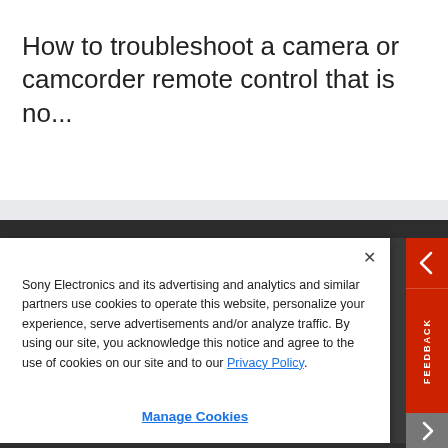How to troubleshoot a camera or camcorder remote control that is no...
Sony Electronics and its advertising and analytics and similar partners use cookies to operate this website, personalize your experience, serve advertisements and/or analyze traffic. By using our site, you acknowledge this notice and agree to the use of cookies on our site and to our Privacy Policy.
Manage Cookies